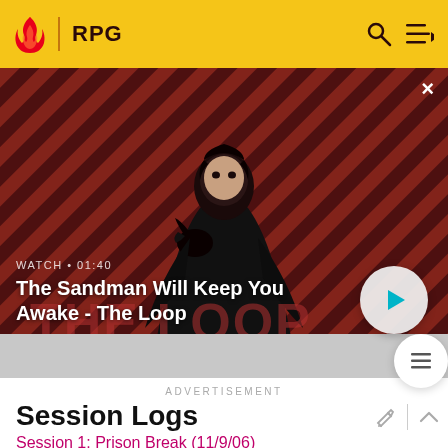RPG
[Figure (screenshot): Video thumbnail showing a dark-cloaked figure with a raven on their shoulder against a red and black diagonal striped background. Text overlay reads: WATCH • 01:40 / The Sandman Will Keep You Awake - The Loop. A play button is visible on the right.]
ADVERTISEMENT
Session Logs
Session 1: Prison Break (11/9/06)